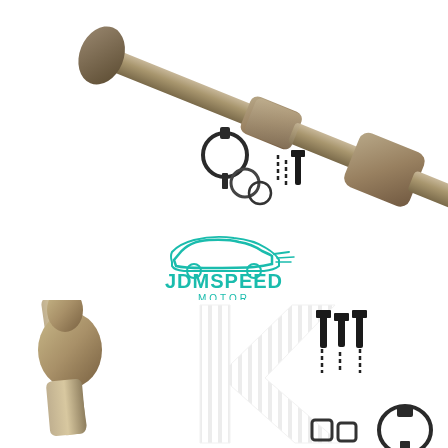[Figure (photo): Product photo of a catalytic converter exhaust pipe assembly in metallic silver-brown finish, shown diagonally with hardware kit including clamp, springs, bolts and gasket rings on white background]
[Figure (logo): JDMSPEED MOTOR logo with teal/cyan car silhouette above the text JDMSPEED in large teal letters and MOTOR in smaller teal text below]
[Figure (photo): Close-up product photo of a catalytic converter pipe end detail in metallic finish, with a large K watermark in gray stripes in the background, and hardware kit (bolts, springs, clamp, nuts) visible on the right side, on white background]